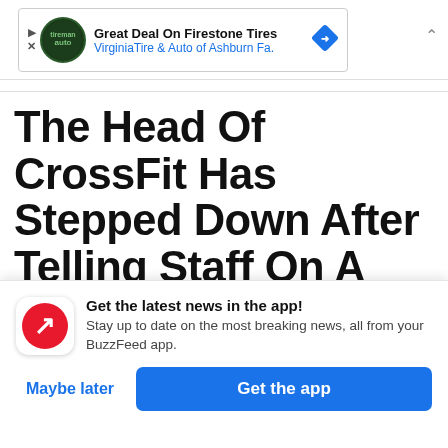[Figure (screenshot): Advertisement banner for Virginia Tire & Auto of Ashburn showing Firestone Tires deal with auto logo icon and blue diamond navigation icon]
The Head Of CrossFit Has Stepped Down After Telling Staff On A Zoom Call, “We’re Not Mourning For George
[Figure (infographic): BuzzFeed app notification prompt with red BuzzFeed icon, text 'Get the latest news in the app! Stay up to date on the most breaking news, all from your BuzzFeed app.' with 'Maybe later' and 'Get the app' buttons]